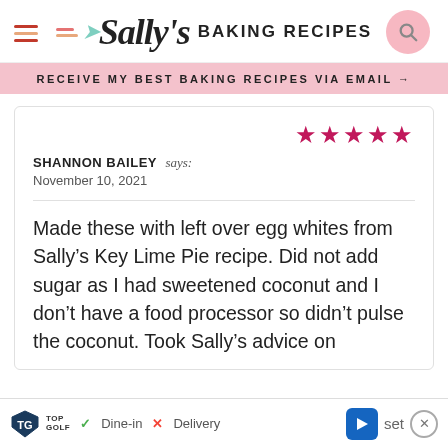Sally's Baking Recipes
RECEIVE MY BEST BAKING RECIPES VIA EMAIL →
★★★★★ SHANNON BAILEY says: November 10, 2021
Made these with left over egg whites from Sally's Key Lime Pie recipe. Did not add sugar as I had sweetened coconut and I don't have a food processor so didn't pulse the coconut. Took Sally's advice on
[Figure (screenshot): Ad bar at bottom showing Topgolf logo, Dine-in and Delivery options, navigation arrow, close button]